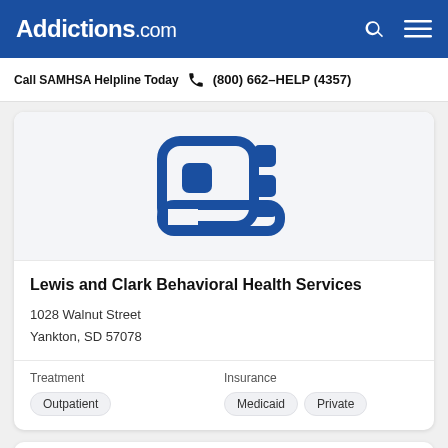Addictions.com
Call SAMHSA Helpline Today  (800) 662-HELP (4357)
[Figure (logo): Addictions.com facility placeholder logo - blue icon with rounded squares and dots]
Lewis and Clark Behavioral Health Services
1028 Walnut Street
Yankton, SD 57078
Treatment
Outpatient
Insurance
Medicaid  Private